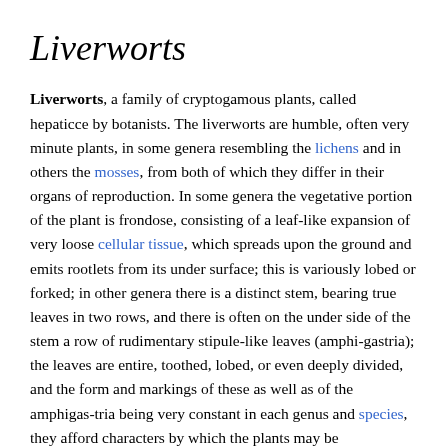Liverworts
Liverworts, a family of cryptogamous plants, called hepaticce by botanists. The liverworts are humble, often very minute plants, in some genera resembling the lichens and in others the mosses, from both of which they differ in their organs of reproduction. In some genera the vegetative portion of the plant is frondose, consisting of a leaf-like expansion of very loose cellular tissue, which spreads upon the ground and emits rootlets from its under surface; this is variously lobed or forked; in other genera there is a distinct stem, bearing true leaves in two rows, and there is often on the under side of the stem a row of rudimentary stipule-like leaves (amphi-gastria); the leaves are entire, toothed, lobed, or even deeply divided, and the form and markings of these as well as of the amphigas-tria being very constant in each genus and species, they afford characters by which the plants may be distinguished when the fructification is wanting. The reproductive organs are of two kinds, corresponding in their office to the stamens and pistils in the higher orders of plants; these are monoecious or dioecious, are sometimes sunk within the substance of the frond as in